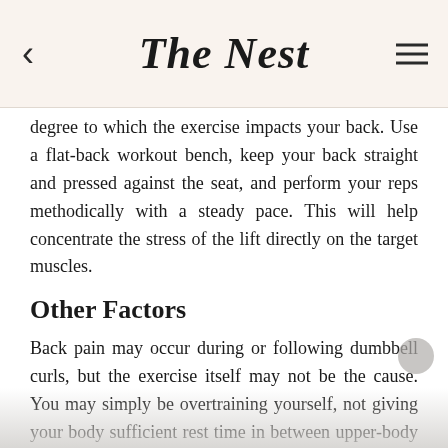The Nest
degree to which the exercise impacts your back. Use a flat-back workout bench, keep your back straight and pressed against the seat, and perform your reps methodically with a steady pace. This will help concentrate the stress of the lift directly on the target muscles.
Other Factors
Back pain may occur during or following dumbbell curls, but the exercise itself may not be the cause. You may simply be overtraining yourself, not giving your body sufficient rest time in between upper-body workouts. You need at least one full day to